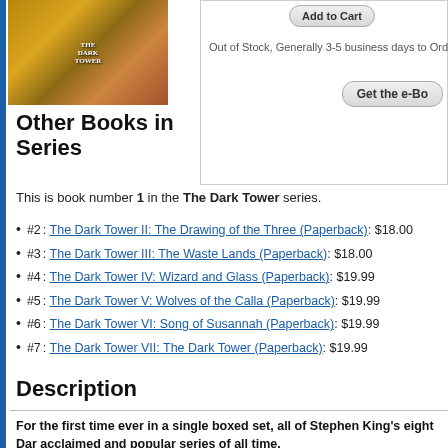[Figure (photo): Stack of Dark Tower book series boxed set with colorful spines]
Out of Stock, Generally 3-5 business days to Order your
Other Books in Series
This is book number 1 in the The Dark Tower series.
#2: The Dark Tower II: The Drawing of the Three (Paperback): $18.00
#3: The Dark Tower III: The Waste Lands (Paperback): $18.00
#4: The Dark Tower IV: Wizard and Glass (Paperback): $19.99
#5: The Dark Tower V: Wolves of the Calla (Paperback): $19.99
#6: The Dark Tower VI: Song of Susannah (Paperback): $19.99
#7: The Dark Tower VII: The Dark Tower (Paperback): $19.99
Description
For the first time ever in a single boxed set, all of Stephen King's eight Dar acclaimed and popular series of all time.
Set in a world of ominous landscape and macabre menace, The Dark Tower ser powerful creations—The Gunslinger—a haunting figure who embodies the quali ancient myth to frontier Western legend. As Roland crosses a desert of damnati